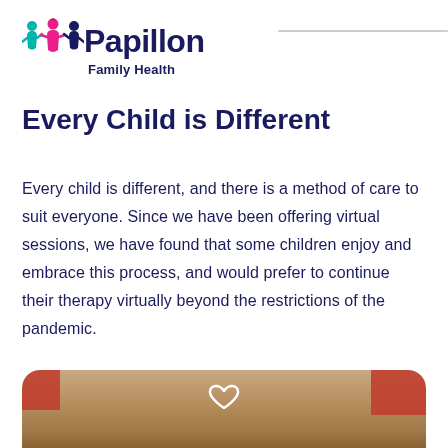[Figure (logo): Papillon Family Health logo with three stylized figures (teal, pink, dark blue) and the text 'Papillon' in dark navy bold and 'Family Health' below]
Every Child is Different
Every child is different, and there is a method of care to suit everyone. Since we have been offering virtual sessions, we have found that some children enjoy and embrace this process, and would prefer to continue their therapy virtually beyond the restrictions of the pandemic.
[Figure (photo): Bottom partial photo of a young child with light hair, wearing a white hair accessory, with red/colorful background elements, rounded top corners]